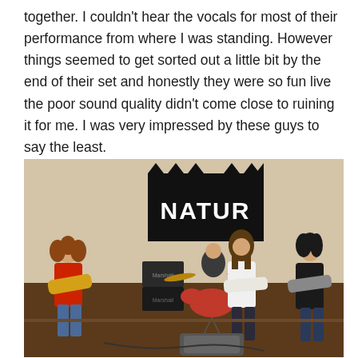together. I couldn't hear the vocals for most of their performance from where I was standing. However things seemed to get sorted out a little bit by the end of their set and honestly they were so fun live the poor sound quality didn't come close to ruining it for me. I was very impressed by these guys to say the least.
[Figure (photo): A band named Natur performing live on a small stage. Four musicians visible: a curly-haired guitarist in a red shirt on the far left playing a Les Paul-style guitar, a drummer behind a red drum kit in the center with a black Natur banner behind them, a long-haired vocalist/guitarist in a white shirt center-right, and a dark-haired guitarist on the far right. Marshall amplifiers visible on the left side of the stage.]